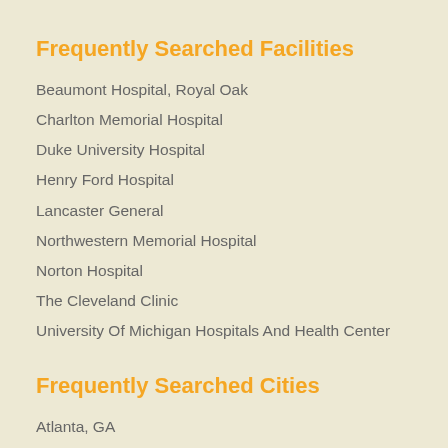Frequently Searched Facilities
Beaumont Hospital, Royal Oak
Charlton Memorial Hospital
Duke University Hospital
Henry Ford Hospital
Lancaster General
Northwestern Memorial Hospital
Norton Hospital
The Cleveland Clinic
University Of Michigan Hospitals And Health Center
Frequently Searched Cities
Atlanta, GA
Boston, MA